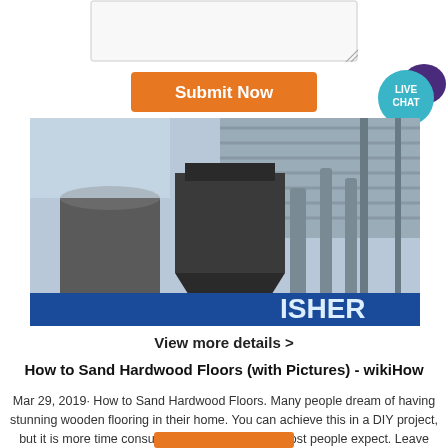[Figure (screenshot): A text area input field with a resize handle in the bottom right corner]
[Figure (other): Orange Submit Now button]
[Figure (other): Live Chat badge - teal circle with white text LIVE CHAT and dark purple speech bubble icon]
[Figure (photo): Industrial machinery - large metal hoppers and dust collectors under a corrugated metal roof shelter, with partial text ISHER visible on a blue sign]
View more details >
How to Sand Hardwood Floors (with Pictures) - wikiHow
Mar 29, 2019· How to Sand Hardwood Floors. Many people dream of having stunning wooden flooring in their home. You can achieve this in a DIY project, but it is more time consuming and difficult than most people expect. Leave yourself plenty of time to...